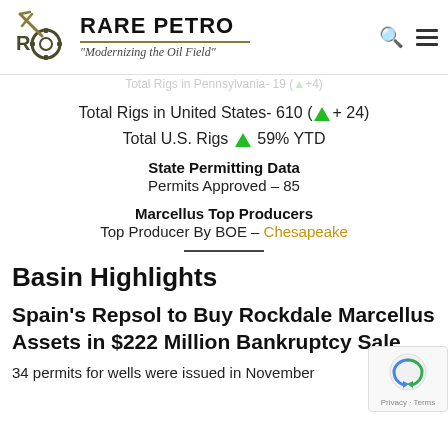RARE PETRO — "Modernizing the Oil Field"
Total Rigs in United States- 610 (▲ + 24)
Total U.S. Rigs ▲ 59% YTD
State Permitting Data
Permits Approved – 85
Marcellus Top Producers
Top Producer By BOE – Chesapeake
Basin Highlights
Spain's Repsol to Buy Rockdale Marcellus Assets in $222 Million Bankruptcy Sale
34 permits for wells were issued in November